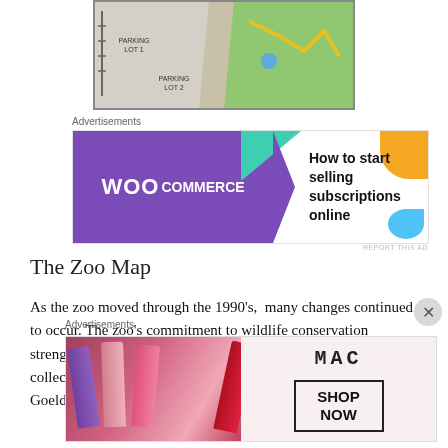[Figure (map): A zoo map showing parking lots, roads, and green areas including Parking Lot 1 and Parking Lot 2]
Advertisements
[Figure (other): WooCommerce advertisement banner: How to start selling subscriptions online]
The Zoo Map
As the zoo moved through the 1990's,  many changes continued to occur. The zoo's commitment to wildlife conservation strengthened  and more endangered species were added to the collection including Andean Condors, Golden Lion Tamarins, Goeldi's Monkeys and Galapagos T...
Advertisements
[Figure (other): MAC cosmetics advertisement banner showing lipsticks with SHOP NOW button]